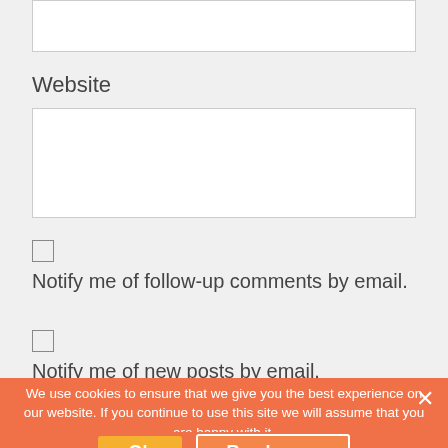(partial input box at top)
Website
(website input box)
Notify me of follow-up comments by email.
Notify me of new posts by email.
Post Comment
We use cookies to ensure that we give you the best experience on our website. If you continue to use this site we will assume that you are happy with it.
Ok
Read more